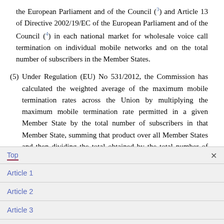the European Parliament and of the Council (3) and Article 13 of Directive 2002/19/EC of the European Parliament and of the Council (4) in each national market for wholesale voice call termination on individual mobile networks and on the total number of subscribers in the Member States.
(5) Under Regulation (EU) No 531/2012, the Commission has calculated the weighted average of the maximum mobile termination rates across the Union by multiplying the maximum mobile termination rate permitted in a given Member State by the total number of subscribers in that Member State, summing that product over all Member States and then dividing the total obtained by the total number of subscribers in all Member States, on the basis of the data
Top
Article 1
Article 2
Article 3